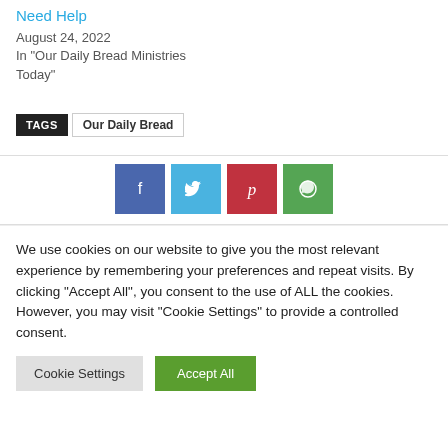Need Help
August 24, 2022
In "Our Daily Bread Ministries Today"
TAGS   Our Daily Bread
[Figure (infographic): Social sharing buttons: Facebook (blue), Twitter (light blue), Pinterest (red), WhatsApp (green)]
We use cookies on our website to give you the most relevant experience by remembering your preferences and repeat visits. By clicking "Accept All", you consent to the use of ALL the cookies. However, you may visit "Cookie Settings" to provide a controlled consent.
Cookie Settings   Accept All